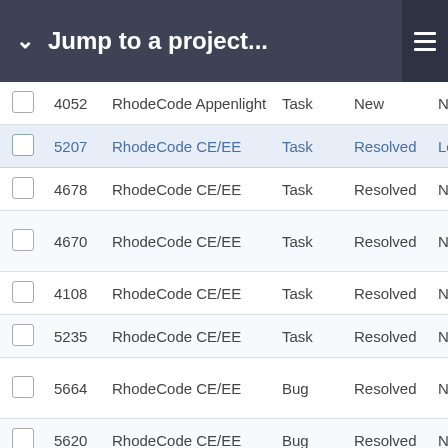Jump to a project...
|  | ID | Project | Type | Status | Priority |
| --- | --- | --- | --- | --- | --- |
| ☐ | 4052 | RhodeCode Appenlight | Task | New | Nor |
| ☐ | 5207 | RhodeCode CE/EE | Task | Resolved | Lo |
| ☐ | 4678 | RhodeCode CE/EE | Task | Resolved | Nor |
| ☐ | 4670 | RhodeCode CE/EE | Task | Resolved | Nor |
| ☐ | 4108 | RhodeCode CE/EE | Task | Resolved | Nor |
| ☐ | 5235 | RhodeCode CE/EE | Task | Resolved | Nor |
| ☐ | 5664 | RhodeCode CE/EE | Bug | Resolved | Nor |
| ☐ | 5620 | RhodeCode CE/EE | Bug | Resolved | Nor |
| ☐ | 4297 | RhodeCode CE/EE | Task | Resolved | Nor |